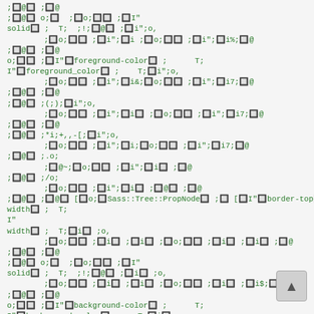[Figure (screenshot): Screenshot of green monospace code text on light gray background, showing Ruby/Sass-like source code with various symbols and identifiers including foreground-color, background-color, border-top, width, solid, @separator, @tabsi, @prop_syntax, @children references.]